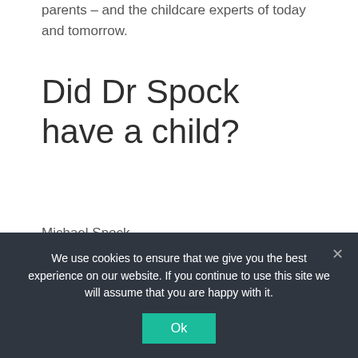parents – and the childcare experts of today and tomorrow.
Did Dr Spock have a child?
Michael Spock
John Spock
Benjamin Spock/Children
Did Spock have a child?
We use cookies to ensure that we give you the best experience on our website. If you continue to use this site we will assume that you are happy with it.